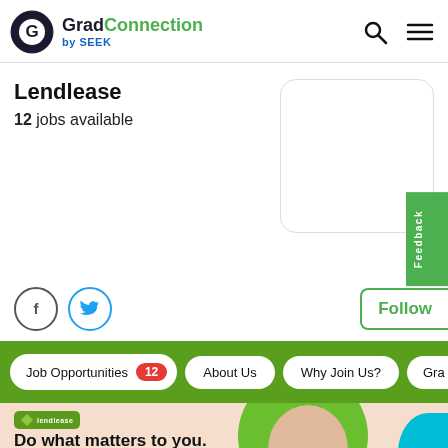GradConnection by SEEK
Lendlease
12 jobs available
[Figure (logo): Lendlease company logo box (white rounded rectangle)]
[Figure (illustration): Facebook and Twitter social media icons (circles with f and bird symbols)]
Follow
Feedback
Job Opportunities 12
About Us
Why Join Us?
Gra...
[Figure (photo): Lendlease banner with person and text: Do what matters to you. Join the Lendlease Graduate Program]
Do what matters to you. Join the Lendlease